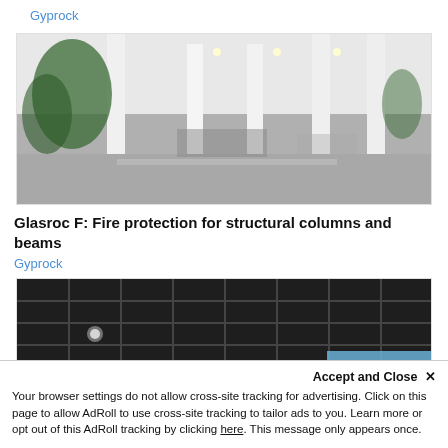Gyprock
[Figure (photo): Interior lobby with white columns, tropical plants, and polished concrete floor]
Glasroc F: Fire protection for structural columns and beams
Gyprock
[Figure (photo): Dark suspended ceiling grid with recessed lighting]
Accept and Close ✕
Your browser settings do not allow cross-site tracking for advertising. Click on this page to allow AdRoll to use cross-site tracking to tailor ads to you. Learn more or opt out of this AdRoll tracking by clicking here. This message only appears once.